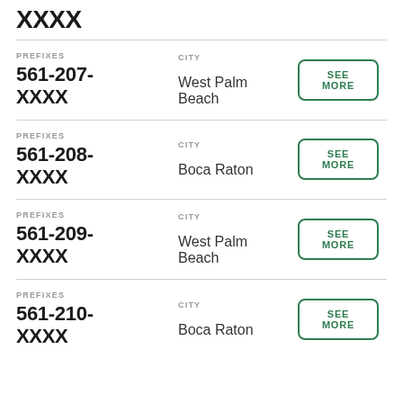XXXX
PREFIXES: 561-207-XXXX, CITY: West Palm Beach
PREFIXES: 561-208-XXXX, CITY: Boca Raton
PREFIXES: 561-209-XXXX, CITY: West Palm Beach
PREFIXES: 561-210-XXXX, CITY: Boca Raton